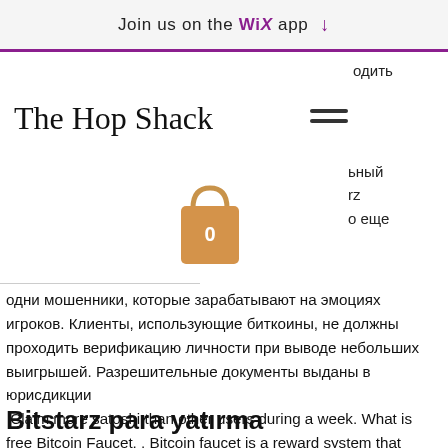Join us on the WiX app ↓
The Hop Shack
[Figure (illustration): Shopping bag icon with the number 0 on it, tan/orange color]
одни мошенники, которые зарабатывают на эмоциях игроков. Клиенты, использующие биткоины, не должны проходить верификацию личности при выводе небольших выигрышей. Разрешительные документы выданы в юрисдикции
Claim more satoshi than other users during a week. What is free Bitcoin Faucet, . Bitcoin faucet is a reward system that dispenses rewards in the form of a satoshi for visitors to claim in exchange for completing a captcha.
Bitstarz para yatırma